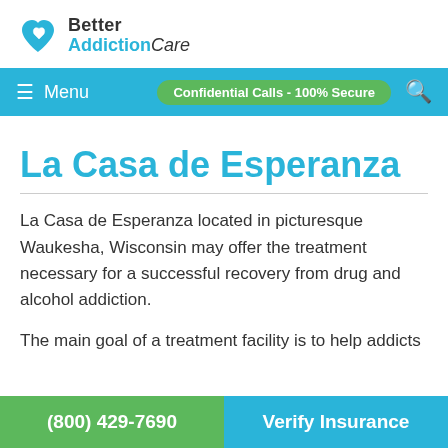[Figure (logo): Better AddictionCare logo with blue heart icon and text]
Menu   Confidential Calls - 100% Secure
La Casa de Esperanza
La Casa de Esperanza located in picturesque Waukesha, Wisconsin may offer the treatment necessary for a successful recovery from drug and alcohol addiction.
The main goal of a treatment facility is to help addicts
(800) 429-7690   Verify Insurance